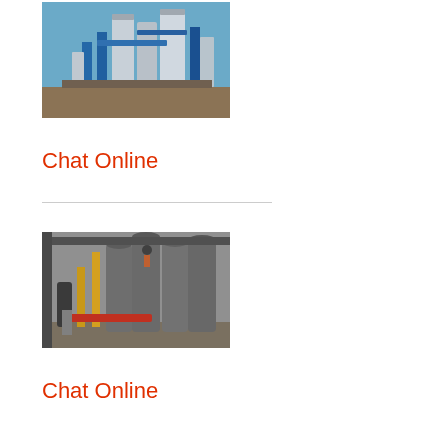[Figure (photo): Industrial chemical plant with blue and silver cylindrical tanks and pipes against a blue sky]
Chat Online
[Figure (photo): Industrial facility with large gray cylindrical silos and yellow structural supports, workers visible]
Chat Online